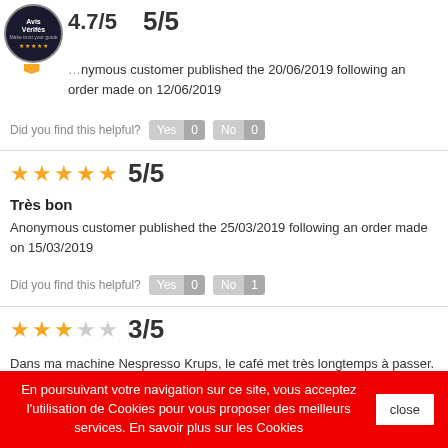[Figure (logo): Avis Vérifiés badge - circular black badge with gold stars and ribbon]
4.7/5   5/5
Anonymous customer published the 20/06/2019 following an order made on 12/06/2019
Did you find this helpful? Yes 0  No 0
5/5
Très bon
Anonymous customer published the 25/03/2019 following an order made on 15/03/2019
Did you find this helpful? Yes 0  No 1
3/5
Dans ma machine Nespresso Krups, le café met très longtemps à passer. La capsule n'est donc pas bien adaptée.
En poursuivant votre navigation sur ce site, vous acceptez l'utilisation de Cookies pour vous proposer des meilleurs services. En savoir plus sur les Cookies